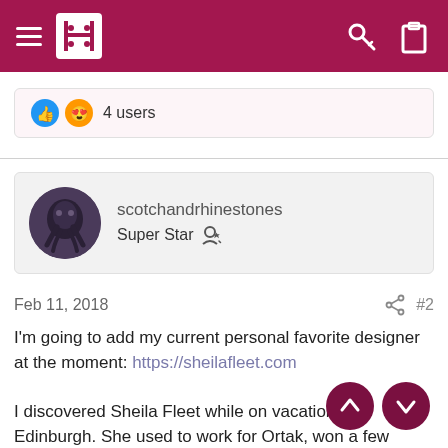scotchandrhinestones forum header navigation bar
😊 4 users
scotchandrhinestones
Super Star
Feb 11, 2018 #2
I'm going to add my current personal favorite designer at the moment: https://sheilafleet.com

I discovered Sheila Fleet while on vacation in Edinburgh. She used to work for Ortak, won a few European jewelry design awards, and opened her own studio in the Orkney islands. Everything she designs is based on the Orkney landscape. Some are clunker than others, but the are favorites. The first set is ridiculously elegant and flattering,